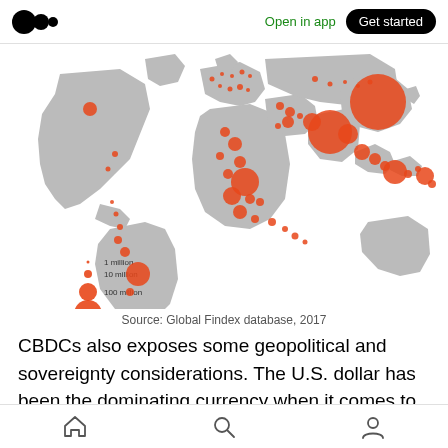Open in app  Get started
[Figure (map): World bubble map showing unbanked population by country. Orange circles of varying sizes represent 1 million, 10 million, 100 million, and 200 million people. Large circles visible over South Asia, Southeast Asia, Sub-Saharan Africa, Middle East, and smaller circles over Latin America and Europe.]
Source: Global Findex database, 2017
CBDCs also exposes some geopolitical and sovereignty considerations. The U.S. dollar has been the dominating currency when it comes to
Home  Search  Profile